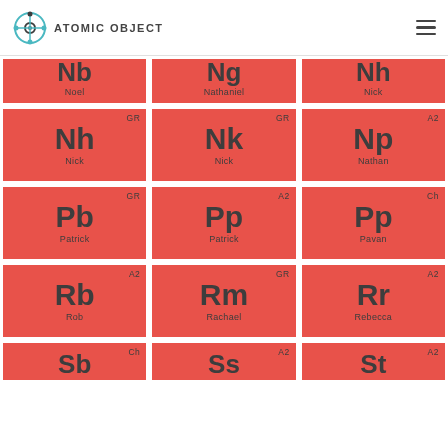ATOMIC OBJECT
[Figure (infographic): Periodic-table-style grid of Atomic Object employees. Each cell shows a two-letter symbol, a full name, and a group tag (GR, A2, Ch, etc.) on a red background. Visible cells: Row1 partial: Nb/Noel, Ng/Nathaniel, Nh/Nick. Row2: GR Nh/Nick, GR Nk/Nick, A2 Np/Nathan. Row3: GR Pb/Patrick, A2 Pp/Patrick, Ch Pp/Pavan. Row4: A2 Rb/Rob, GR Rm/Rachael, A2 Rr/Rebecca. Row5 partial: Ch Sb, A2 Ss, A2 St.]